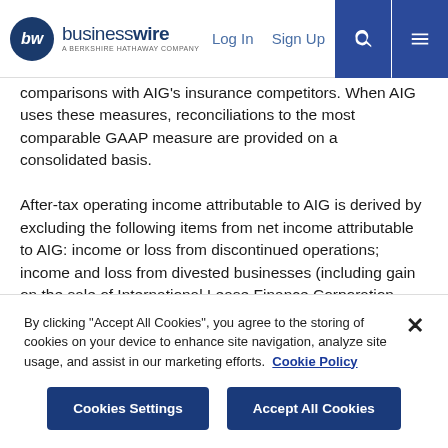businesswire — A BERKSHIRE HATHAWAY COMPANY | Log In | Sign Up
comparisons with AIG's insurance competitors. When AIG uses these measures, reconciliations to the most comparable GAAP measure are provided on a consolidated basis.

After-tax operating income attributable to AIG is derived by excluding the following items from net income attributable to AIG: income or loss from discontinued operations; income and loss from divested businesses (including gain on the sale of International Lease Finance Corporation (ILFC) and certain post-acquisition transaction expenses incurred by AerCap Holdings N.V. (AerCap) in
By clicking "Accept All Cookies", you agree to the storing of cookies on your device to enhance site navigation, analyze site usage, and assist in our marketing efforts.  Cookie Policy
Cookies Settings | Accept All Cookies